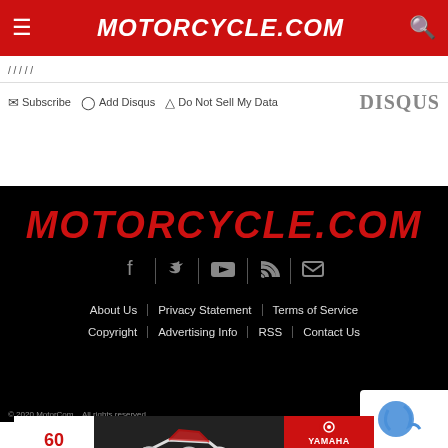Motorcycle.com
Subscribe | Add Disqus | Do Not Sell My Data | DISQUS
[Figure (logo): Motorcycle.com footer logo in red italic bold text on black background]
[Figure (infographic): Social media icons row: Facebook, Twitter, YouTube, RSS, Email on black background]
About Us | Privacy Statement | Terms of Service | Copyright | Advertising Info | RSS | Contact Us
[Figure (other): Yamaha 60th World GP Anniversary advertisement banner with motorcycles]